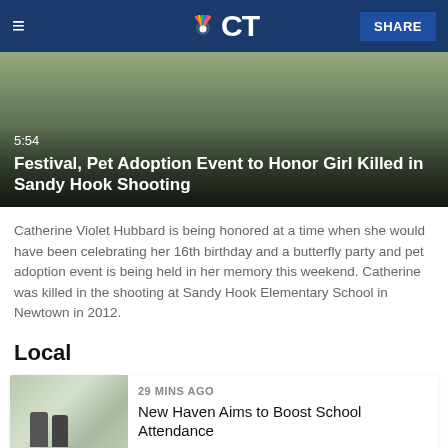NBC CT
[Figure (screenshot): Video thumbnail showing a nature/outdoor scene with overlay text: '5:54' and title 'Festival, Pet Adoption Event to Honor Girl Killed in Sandy Hook Shooting']
Catherine Violet Hubbard is being honored at a time when she would have been celebrating her 16th birthday and a butterfly party and pet adoption event is being held in her memory this weekend. Catherine was killed in the shooting at Sandy Hook Elementary School in Newtown in 2012.
Local
[Figure (photo): Photo of two people in white shirts walking outdoors near a building]
29 MINS AGO
New Haven Aims to Boost School Attendance
[Figure (photo): Photo of a police car parked outside near green bushes]
41MINS AGO
Naugatuck Dad Made His Child Eat Feces, Set Firecracker Off in Child's